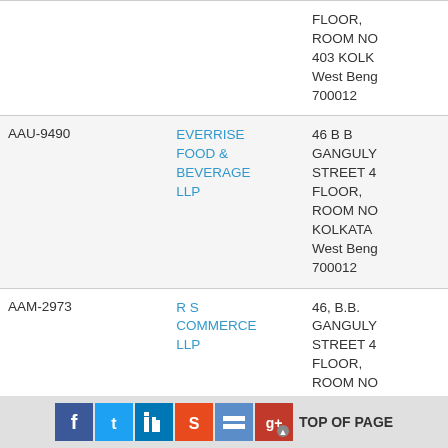| ID | Name | Address |
| --- | --- | --- |
|  |  | FLOOR, ROOM NO 403 KOLKATA West Bengal 700012 |
| AAU-9490 | EVERRISE FOOD & BEVERAGE LLP | 46 B B GANGULY STREET 4 FLOOR, ROOM NO KOLKATA West Bengal 700012 |
| AAM-2973 | R S COMMERCE LLP | 46, B.B. GANGULY STREET 4 FLOOR, ROOM NO KOLKATA |
TOP OF PAGE